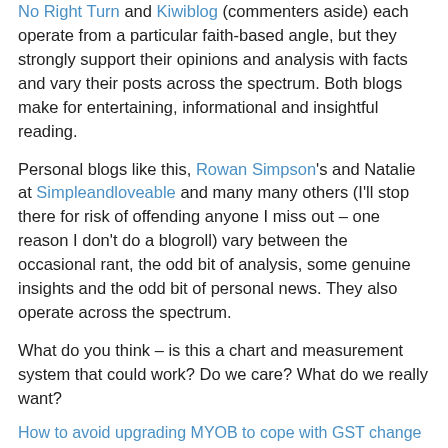No Right Turn and Kiwiblog (commenters aside) each operate from a particular faith-based angle, but they strongly support their opinions and analysis with facts and vary their posts across the spectrum. Both blogs make for entertaining, informational and insightful reading.
Personal blogs like this, Rowan Simpson's and Natalie at Simpleandloveable and many many others (I'll stop there for risk of offending anyone I miss out – one reason I don't do a blogroll) vary between the occasional rant, the odd bit of analysis, some genuine insights and the odd bit of personal news. They also operate across the spectrum.
What do you think – is this a chart and measurement system that could work? Do we care? What do we really want?
How to avoid upgrading MYOB to cope with GST change